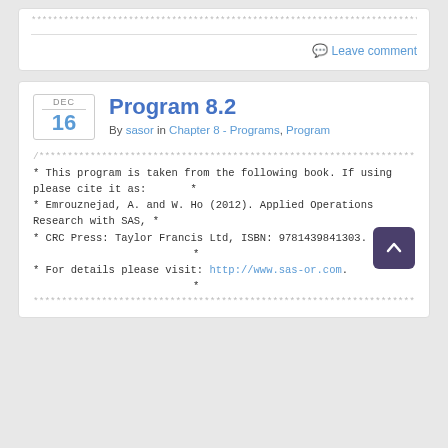***********************************************************************
Leave comment
Program 8.2
By sasor in Chapter 8 - Programs, Program
/* This program is taken from the following book. If using please cite it as: * * Emrouznejad, A. and W. Ho (2012). Applied Operations Research with SAS, * * CRC Press: Taylor Francis Ltd, ISBN: 9781439841303. * * For details please visit: http://www.sas-or.com. *
***********************************************************************